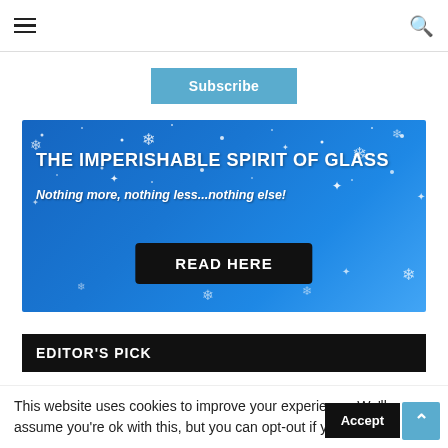Navigation bar with hamburger menu and search icon
Subscribe
[Figure (illustration): Blue winter/holiday banner with snowflakes and sparkles. Title: THE IMPERISHABLE SPIRIT OF GLASS. Subtitle: Nothing more, nothing less...nothing else! Button: READ HERE]
EDITOR'S PICK
This website uses cookies to improve your experience. We'll assume you're ok with this, but you can opt-out if you wish.